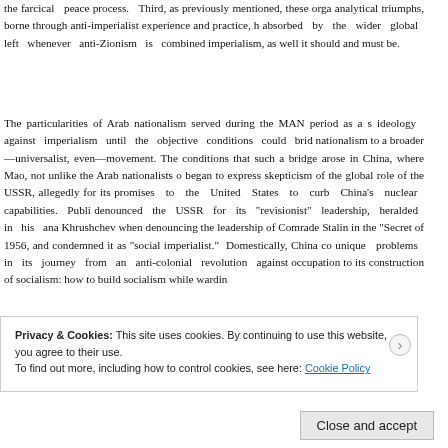the farcical peace process. Third, as previously mentioned, these orga analytical triumphs, borne through anti-imperialist experience and practice, h absorbed by the wider global left whenever anti-Zionism is combined imperialism, as well it should and must be.
The particularities of Arab nationalism served during the MAN period as a s ideology against imperialism until the objective conditions could brid nationalism to a broader—universalist, even—movement. The conditions that such a bridge arose in China, where Mao, not unlike the Arab nationalists began to express skepticism of the global role of the USSR, allegedly for its promises to the United States to curb China's nuclear capabilities. Publi denounced the USSR for its "revisionist" leadership, heralded in his ana Khrushchev when denouncing the leadership of Comrade Stalin in the "Secret of 1956, and condemned it as "social imperialist." Domestically, China co unique problems in its journey from an anti-colonial revolution against occupation to its construction of socialism: how to build socialism while wardin
th
Privacy & Cookies: This site uses cookies. By continuing to use this website, you agree to their use. To find out more, including how to control cookies, see here: Cookie Policy
Close and accept